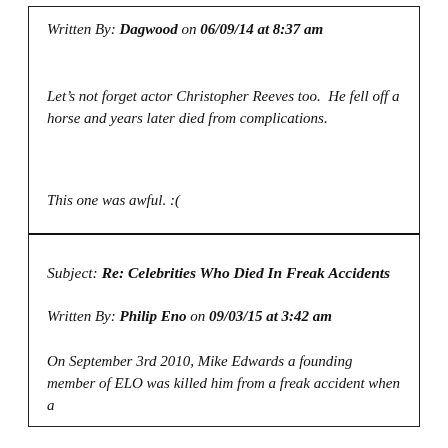Written By: Dagwood on 06/09/14 at 8:37 am
Let's not forget actor Christopher Reeves too.  He fell off a horse and years later died from complications.
This one was awful. :(
Subject: Re: Celebrities Who Died In Freak Accidents
Written By: Philip Eno on 09/03/15 at 3:42 am
On September 3rd 2010, Mike Edwards a founding member of ELO was killed by a freak accident when a...